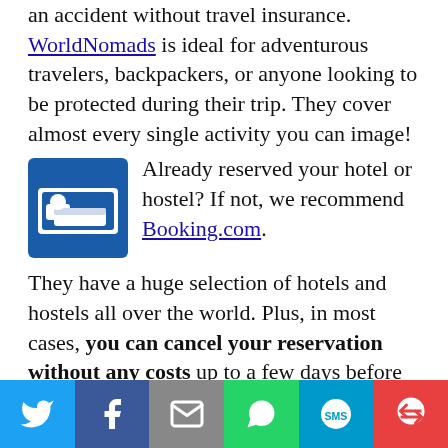an accident without travel insurance. WorldNomads is ideal for adventurous travelers, backpackers, or anyone looking to be protected during their trip. They cover almost every single activity you can image!
[Figure (illustration): Blue hotel/bed icon — square blue icon with a white bed and person sleeping]
Already reserved your hotel or hostel? If not, we recommend Booking.com. They have a huge selection of hotels and hostels all over the world. Plus, in most cases, you can cancel your reservation without any costs up to a few days before the check-in date!
[Figure (illustration): Orange airplane icon pointing right]
Still haven't booked your plane ticket and want to save big? Take a look at Kayak and Momondo. They are flight aggregators that combine several other ticket
Twitter | Facebook | Email | WhatsApp | SMS | More